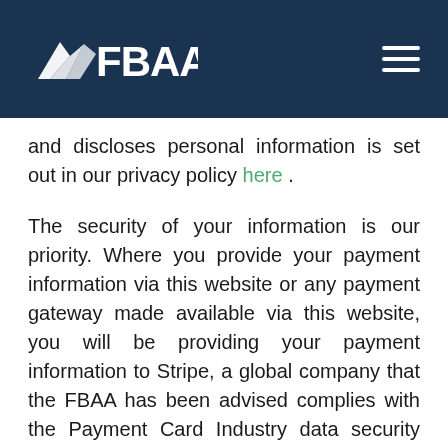FBAA
and discloses personal information is set out in our privacy policy here .
The security of your information is our priority. Where you provide your payment information via this website or any payment gateway made available via this website, you will be providing your payment information to Stripe, a global company that the FBAA has been advised complies with the Payment Card Industry data security standards.  Upon providing your payment information, Stripe will store your payment information (including details of your credit or debit card), assign it a random string of number or a “token” and